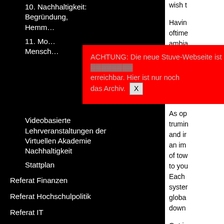10. Nachhaltigkeit: Begründung, Hemm…
11. Mo… Mensch…
[Figure (screenshot): Red popup overlay with German text: ACHTUNG: Die neue Stuve-Webseite ist unter [link] erreichbar. Hier ist nur noch das Archiv. With an X close button.]
Videobasierte Lehrveranstaltungen der Virtuellen Akademie Nachhaltigkeit
Stattplan
Referat Finanzen
Referat Hochschulpolitik
Referat IT
Referat Kultur
Referat Mobilität
Forum Verkehrsentwicklungsplan
Referat Qualitätsmanagement
FAU Gesprächsrunde
wish t
Having oftime ambia websi point b promo profile conne
As op trumin and ir an im of tow to you Each syster globa down
Get is inform Imme withou